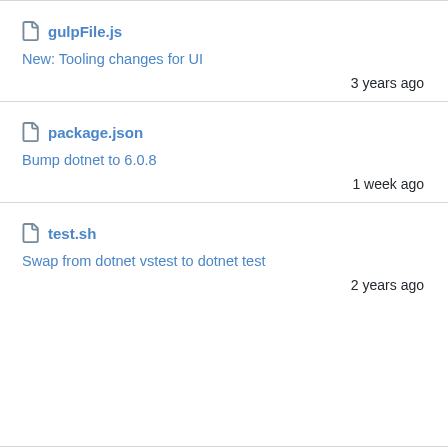gulpFile.js | New: Tooling changes for UI | 3 years ago
package.json | Bump dotnet to 6.0.8 | 1 week ago
test.sh | Swap from dotnet vstest to dotnet test | 2 years ago